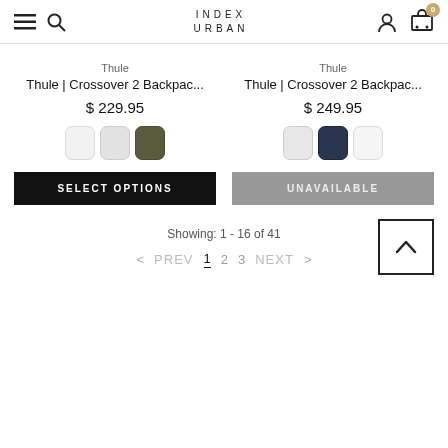INDEX URBAN
Thule | Crossover 2 Backpac... $ 229.95
Thule | Crossover 2 Backpac... $ 249.95
SELECT OPTIONS
UNAVAILABLE
Showing: 1 - 16 of 41
< PREV  1  2  3  NEXT >